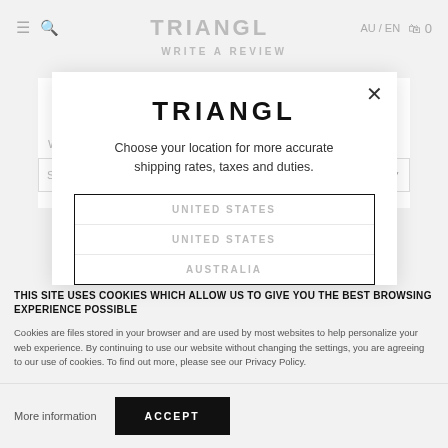TRIANGL  AU / EN  0
WRITE A REVIEW
[Figure (screenshot): Background page with review form, partially visible with What is label and Select dropdown]
TRIANGL
Choose your location for more accurate shipping rates, taxes and duties.
UNITED STATES
UNITED STATES
AUSTRALIA
THIS SITE USES COOKIES WHICH ALLOW US TO GIVE YOU THE BEST BROWSING EXPERIENCE POSSIBLE
Cookies are files stored in your browser and are used by most websites to help personalize your web experience. By continuing to use our website without changing the settings, you are agreeing to our use of cookies. To find out more, please see our Privacy Policy.
More information
ACCEPT